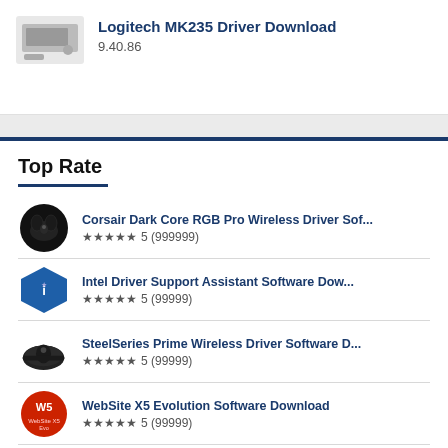[Figure (photo): Logitech MK235 keyboard/mouse combo product image thumbnail]
Logitech MK235 Driver Download
9.40.86
Top Rate
Corsair Dark Core RGB Pro Wireless Driver Sof... ★★★★★ 5 (999999)
Intel Driver Support Assistant Software Dow... ★★★★★ 5 (99999)
SteelSeries Prime Wireless Driver Software D... ★★★★★ 5 (99999)
WebSite X5 Evolution Software Download ★★★★★ 5 (99999)
Canon PIXMA TS3520 Driver Download ★★★★★ 5 (99999)